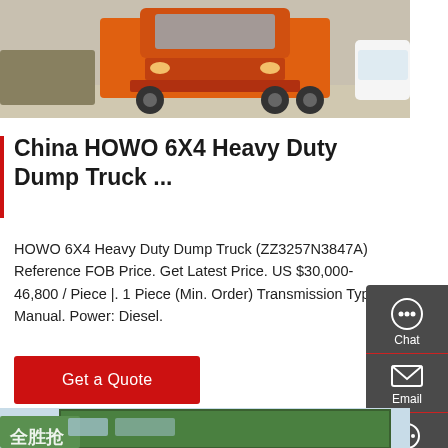[Figure (photo): Orange HOWO heavy duty truck/tractor in a parking area, front view close-up]
China HOWO 6X4 Heavy Duty Dump Truck ...
HOWO 6X4 Heavy Duty Dump Truck (ZZ3257N3847A) Reference FOB Price. Get Latest Price. US $30,000-46,800 / Piece |. 1 Piece (Min. Order) Transmission Type: Manual. Power: Diesel.
[Figure (infographic): Right sidebar with dark grey background showing Chat, Email, Contact, and Top navigation icons]
Get a Quote
[Figure (photo): Green HOWO dump truck cab and body with Chinese text 全胜抢 visible]